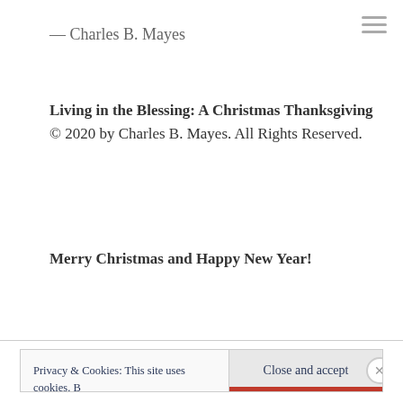— Charles B. Mayes
Living in the Blessing: A Christmas Thanksgiving  © 2020 by Charles B. Mayes.  All Rights Reserved.
Merry Christmas and Happy New Year!
Privacy & Cookies: This site uses cookies. By continuing to use this website, you agree to their use. To find out more, including how to control cookies, see here: Cookie Policy
Close and accept